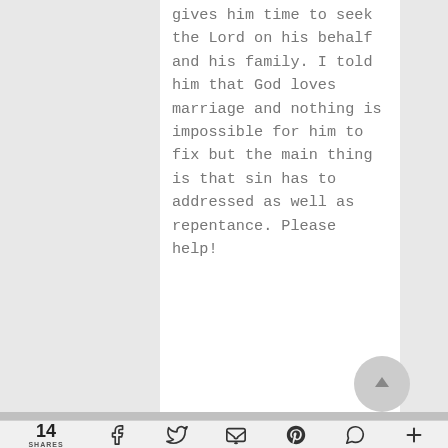gives him time to seek the Lord on his behalf and his family. I told him that God loves marriage and nothing is impossible for him to fix but the main thing is that sin has to addressed as well as repentance. Please help!
14 SHARES | social share icons: Facebook, Twitter, Email, Pinterest, WhatsApp, More